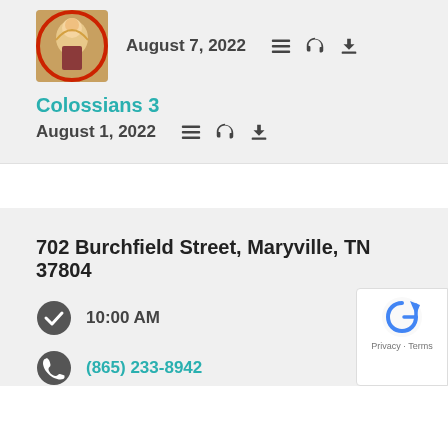[Figure (illustration): Thumbnail image of a religious icon/illustration with colorful artwork]
August 7, 2022
Colossians 3
August 1, 2022
702 Burchfield Street, Maryville, TN 37804
10:00 AM
(865) 233-8942